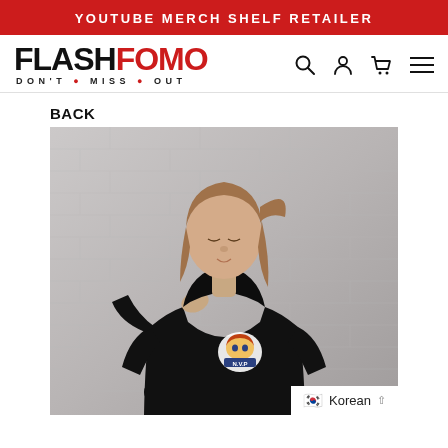YOUTUBE MERCH SHELF RETAILER
[Figure (logo): FlashFOMO logo with tagline DON'T • MISS • OUT and navigation icons]
BACK
[Figure (photo): Woman wearing black hoodie with N.V.P. anime character logo on chest, standing in front of white brick wall]
Korean